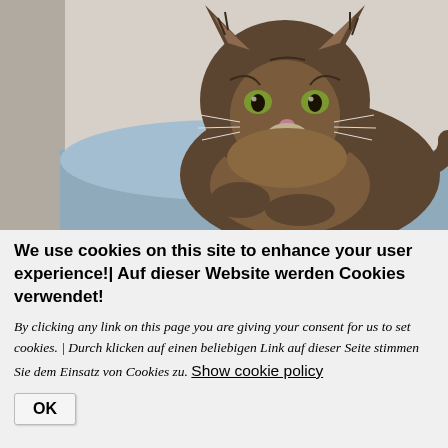[Figure (photo): A fluffy Maine Coon kitten with brown tabby markings lying on a light blue cushion or blanket, looking toward the camera. The background is light/white.]
We use cookies on this site to enhance your user experience!| Auf dieser Website werden Cookies verwendet!
By clicking any link on this page you are giving your consent for us to set cookies. | Durch klicken auf einen beliebigen Link auf dieser Seite stimmen Sie dem Einsatz von Cookies zu. Show cookie policy
OK